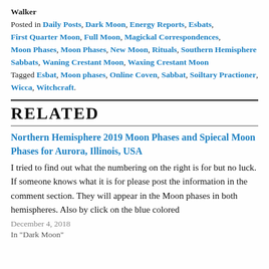Walker
Posted in Daily Posts, Dark Moon, Energy Reports, Esbats, First Quarter Moon, Full Moon, Magickal Correspondences, Moon Phases, Moon Phases, New Moon, Rituals, Southern Hemisphere Sabbats, Waning Crestant Moon, Waxing Crestant Moon
Tagged Esbat, Moon phases, Online Coven, Sabbat, Soiltary Practioner, Wicca, Witchcraft.
RELATED
Northern Hemisphere 2019 Moon Phases and Spiecal Moon Phases for Aurora, Illinois, USA
I tried to find out what the numbering on the right is for but no luck. If someone knows what it is for please post the information in the comment section. They will appear in the Moon phases in both hemispheres. Also by click on the blue colored
December 4, 2018
In "Dark Moon"